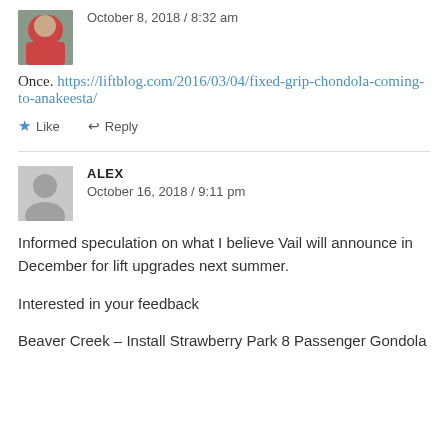October 8, 2018 / 8:32 am
Once. https://liftblog.com/2016/03/04/fixed-grip-chondola-coming-to-anakeesta/
Like
Reply
ALEX
October 16, 2018 / 9:11 pm
Informed speculation on what I believe Vail will announce in December for lift upgrades next summer.
Interested in your feedback
Beaver Creek – Install Strawberry Park 8 Passenger Gondola